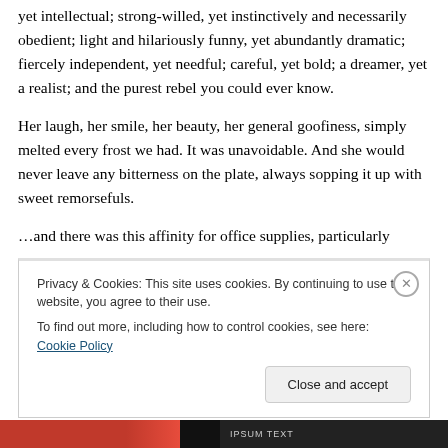yet intellectual; strong-willed, yet instinctively and necessarily obedient; light and hilariously funny, yet abundantly dramatic; fiercely independent, yet needful; careful, yet bold; a dreamer, yet a realist; and the purest rebel you could ever know.
Her laugh, her smile, her beauty, her general goofiness, simply melted every frost we had. It was unavoidable. And she would never leave any bitterness on the plate, always sopping it up with sweet remorsefuls.
…and there was this affinity for office supplies, particularly
Privacy & Cookies: This site uses cookies. By continuing to use this website, you agree to their use.
To find out more, including how to control cookies, see here: Cookie Policy